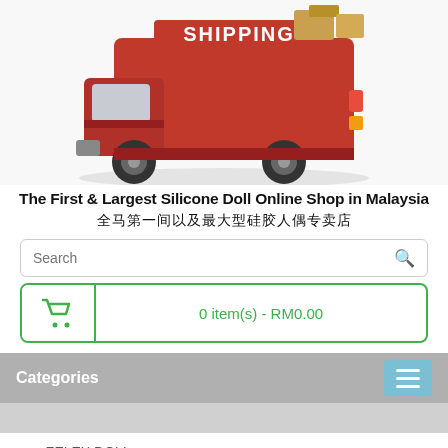[Figure (photo): Red delivery truck with 'SHIPPING' text on top, carrying packages, viewed from behind/side angle. White background.]
The First & Largest Silicone Doll Online Shop in Malaysia
全马第一间以及最大型硅胶人偶专卖店
Search
0 item(s) - RM0.00
Categories
🏠 > ZELEX DOLL
ZELEX DOLL
Zelex Doll is a famous sex doll maker with over 10 years